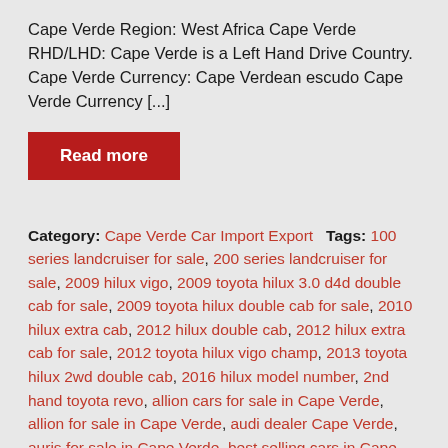Cape Verde Region: West Africa Cape Verde RHD/LHD: Cape Verde is a Left Hand Drive Country. Cape Verde Currency: Cape Verdean escudo Cape Verde Currency [...]
Read more
Category: Cape Verde Car Import Export   Tags: 100 series landcruiser for sale, 200 series landcruiser for sale, 2009 hilux vigo, 2009 toyota hilux 3.0 d4d double cab for sale, 2009 toyota hilux double cab for sale, 2010 hilux extra cab, 2012 hilux double cab, 2012 hilux extra cab for sale, 2012 toyota hilux vigo champ, 2013 toyota hilux 2wd double cab, 2016 hilux model number, 2nd hand toyota revo, allion cars for sale in Cape Verde, allion for sale in Cape Verde, audi dealer Cape Verde, auris for sale in Cape Verde, best selling cars in Cape Verde, best toyota hilux model, brand new cars for sale in Cape Verde, brand new toyota hilux double cab for sale,